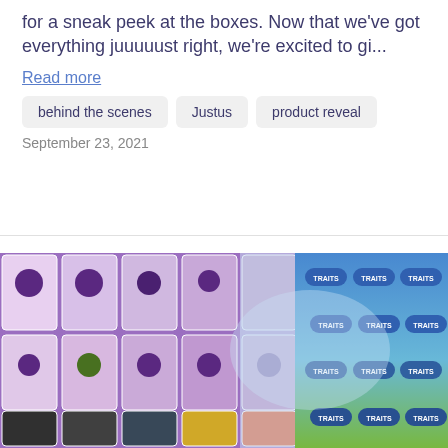for a sneak peek at the boxes. Now that we've got everything juuuuust right, we're excited to gi...
Read more
behind the scenes
Justus
product reveal
September 23, 2021
[Figure (photo): Close-up photo of board game cards and components laid out, showing purple illustrated cards with fruit/plant characters and trait cards on the right side with blue/green gradient boxes labeled TRAITS]